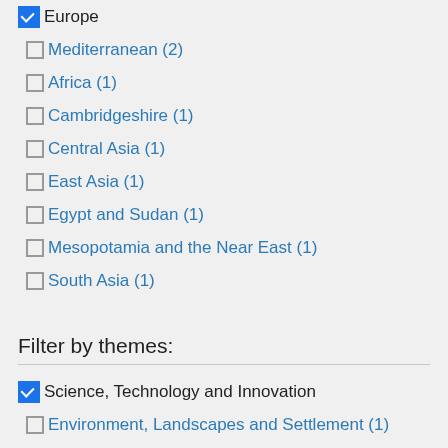Europe (checked)
Mediterranean (2)
Africa (1)
Cambridgeshire (1)
Central Asia (1)
East Asia (1)
Egypt and Sudan (1)
Mesopotamia and the Near East (1)
South Asia (1)
Filter by themes:
Science, Technology and Innovation (checked)
Environment, Landscapes and Settlement (1)
Rethinking Complexity (1)